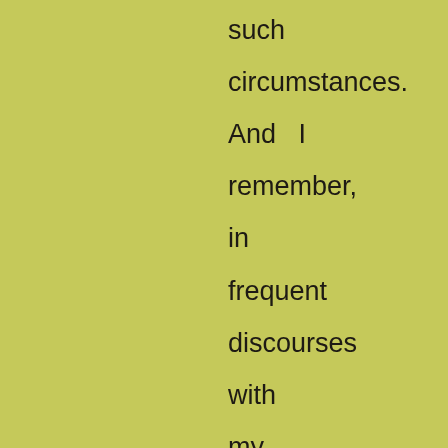such circumstances. And  I remember, in frequent discourses with my master concerning the nature of manhood in other parts of the